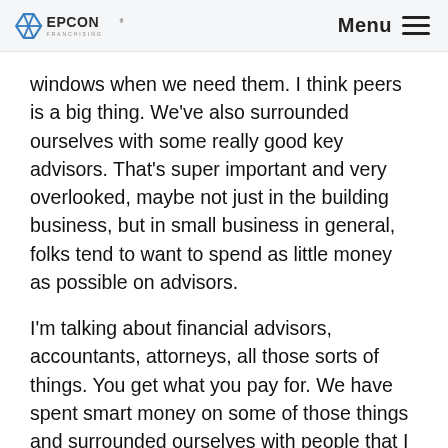EPCON FRANCHISING | Menu
windows when we need them. I think peers is a big thing. We've also surrounded ourselves with some really good key advisors. That's super important and very overlooked, maybe not just in the building business, but in small business in general, folks tend to want to spend as little money as possible on advisors.
I'm talking about financial advisors, accountants, attorneys, all those sorts of things. You get what you pay for. We have spent smart money on some of those things and surrounded ourselves with people that I don't even count them necessarily, as they are no longer business